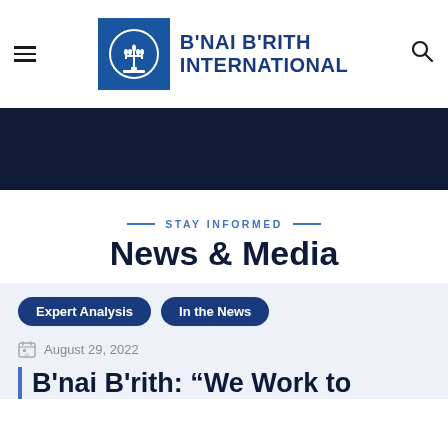B'NAI B'RITH INTERNATIONAL
[Figure (logo): B'nai B'rith International logo — blue square with white menorah emblem]
STAY INFORMED
News & Media
Expert Analysis
In the News
August 29, 2022
B'nai B'rith: “We Work to